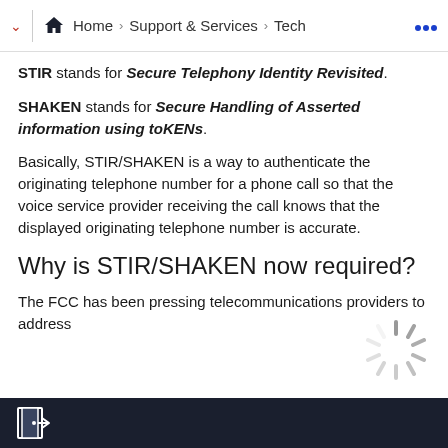Home > Support & Services > Tech ...
STIR stands for Secure Telephony Identity Revisited.
SHAKEN stands for Secure Handling of Asserted information using toKENs.
Basically, STIR/SHAKEN is a way to authenticate the originating telephone number for a phone call so that the voice service provider receiving the call knows that the displayed originating telephone number is accurate.
Why is STIR/SHAKEN now required?
The FCC has been pressing telecommunications providers to address